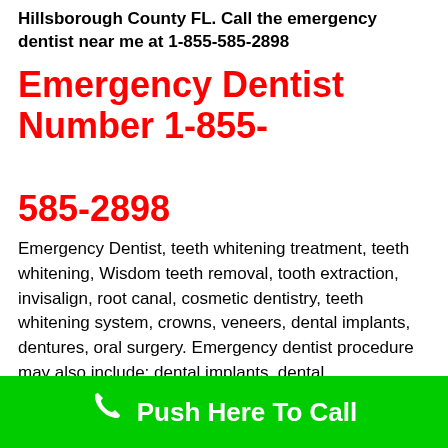Hillsborough County FL. Call the emergency dentist near me at 1-855-585-2898
Emergency Dentist Number 1-855-585-2898
Emergency Dentist, teeth whitening treatment, teeth whitening, Wisdom teeth removal, tooth extraction, invisalign, root canal, cosmetic dentistry, teeth whitening system, crowns, veneers, dental implants, dentures, oral surgery. Emergency dentist procedure may also include: dental implants, dental professionals, dental crowns, emergency dentist,
Push Here To Call